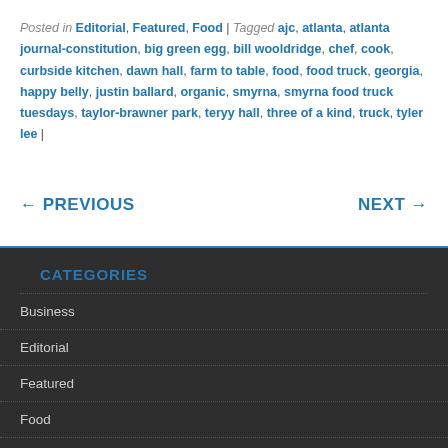Posted in Editorial, Featured, Food | Tagged ajc, atlanta, atlanta journal-constitution, big green egg, bill wooldridge, chef, cook, curbside kitchen, dawn hall, farm to table, food, food truck, georgia, happy belly, justin ballard, organic, smyrna, smyrna food truck tuesdays, taylor-brawner park, teryy hall, three of a kind, truck, tyler lee |
← PREVIOUS
NEXT →
CATEGORIES
Business
Editorial
Featured
Food
Music